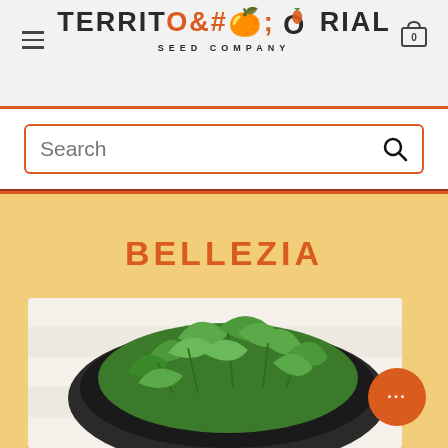Territorial Seed Company
Search
BELLEZIA
[Figure (photo): Arugula leaves piled in a dark bowl on a white wooden surface]